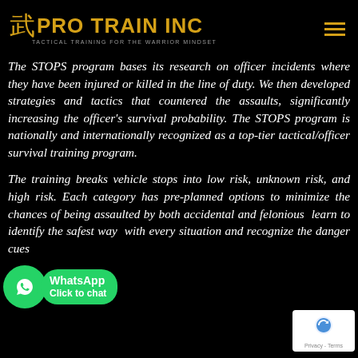[Figure (logo): Pro Train Inc logo with kanji character, gold text reading PRO TRAIN INC, tagline TACTICAL TRAINING FOR THE WARRIOR MINDSET, and hamburger menu icon]
The STOPS program bases its research on officer incidents where they have been injured or killed in the line of duty. We then developed strategies and tactics that countered the assaults, significantly increasing the officer's survival probability. The STOPS program is nationally and internationally recognized as a top-tier tactical/officer survival training program.
The training breaks vehicle stops into low risk, unknown risk, and high risk. Each category has pre-planned options to minimize the chances of being assaulted by both accidental and felonious motorists. learn to identify the safest way to deal with every situation and recognize the danger cues